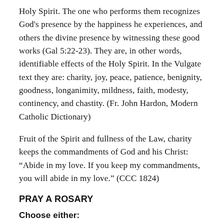Holy Spirit. The one who performs them recognizes God's presence by the happiness he experiences, and others the divine presence by witnessing these good works (Gal 5:22-23). They are, in other words, identifiable effects of the Holy Spirit. In the Vulgate text they are: charity, joy, peace, patience, benignity, goodness, longanimity, mildness, faith, modesty, continency, and chastity. (Fr. John Hardon, Modern Catholic Dictionary)
Fruit of the Spirit and fullness of the Law, charity keeps the commandments of God and his Christ: “Abide in my love. If you keep my commandments, you will abide in my love.” (CCC 1824)
PRAY A ROSARY
Choose either:
1. Rosary of the Day: Sorrowful Mysteries